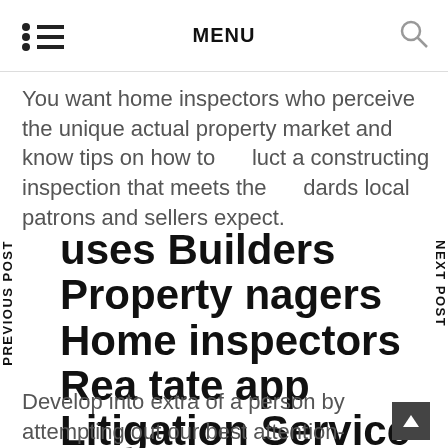MENU
You want home inspectors who perceive the unique actual property market and know tips on how to conduct a constructing inspection that meets the standards local patrons and sellers expect.
...uses Builders Property Managers Home inspectors Real Estate app Litigation Service ...resources Buyers Guide
Develop into extra of a person by attempting out our best attention-grabbing questions in your next dialog. Buses to Encarnación (US$1) depart each